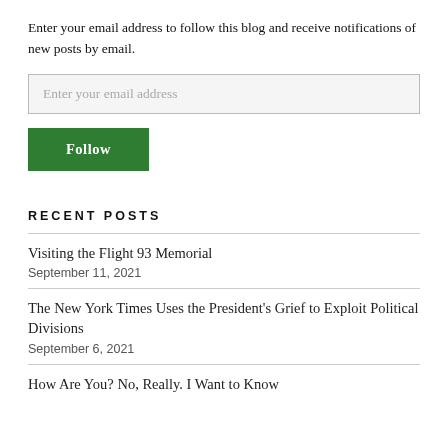Enter your email address to follow this blog and receive notifications of new posts by email.
Enter your email address
Follow
RECENT POSTS
Visiting the Flight 93 Memorial
September 11, 2021
The New York Times Uses the President's Grief to Exploit Political Divisions
September 6, 2021
How Are You? No, Really. I Want to Know